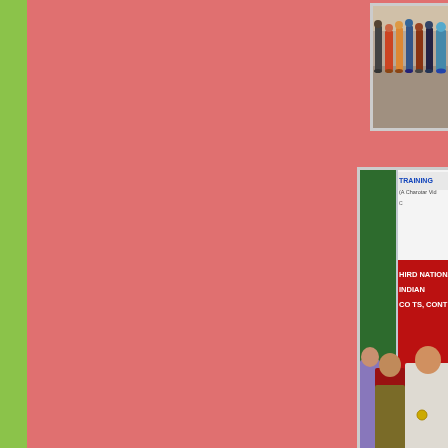[Figure (photo): Group photo of people in colorful traditional and casual attire, cropped showing lower portion (feet and legs area cut off at top)]
[Figure (photo): Two elderly men seated at a table at a conference. A banner behind reads 'THIRD NATIONAL... INDIAN... CONCEPTS, CONT...' and 'TRAINING... (A Charotar Vid...']
at February 08, 2018   No comments:
H M Patel: A Phenomenon ( Foun